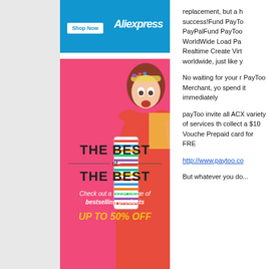[Figure (illustration): AliExpress advertisement banner with 'Shop Now' button and AliExpress logo on blue background]
[Figure (illustration): Pink advertisement banner reading 'THE BEST OF THE BEST - Check out a huge range of bestselling products - UP TO 50% OFF' with woman holding striped bag]
replacement, but a h success!Fund PayTo PayPalFund PayToo WorldWide Load Pa Realtime Create Virt worldwide, just like y
No waiting for your r PayToo Merchant, yo spend it immediately
payToo invite all ACX variety of services th collect a $10 Vouche Prepaid card for FRE
http://www.paytoo.co
But whatever you do...